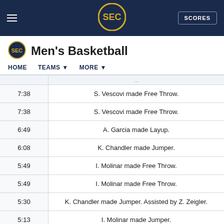SEC Men's Basketball — SCORES
Men's Basketball
HOME   TEAMS   MORE
| Time | Play |
| --- | --- |
| 7:38 | S. Vescovi made Free Throw. |
| 7:38 | S. Vescovi made Free Throw. |
| 6:49 | A. Garcia made Layup. |
| 6:08 | K. Chandler made Jumper. |
| 5:49 | I. Molinar made Free Throw. |
| 5:49 | I. Molinar made Free Throw. |
| 5:30 | K. Chandler made Jumper. Assisted by Z. Zeigler. |
| 5:13 | I. Molinar made Jumper. |
| 5:13 | I. Molinar made Free Throw. |